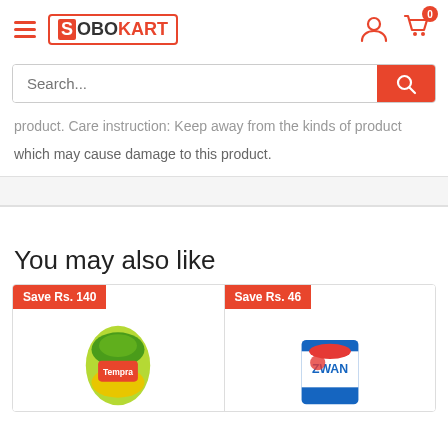[Figure (logo): Sobokart e-commerce logo with hamburger menu, user icon, and cart icon showing 0 items]
[Figure (screenshot): Search bar with placeholder 'Search...' and red search button]
product. Care instruction: Keep away from the kinds of product which may cause damage to this product.
You may also like
[Figure (photo): Product card with Save Rs. 140 badge and green/yellow packaged food product image (Tempra brand)]
[Figure (photo): Product card with Save Rs. 46 badge and blue/white product image (ZWAR brand)]